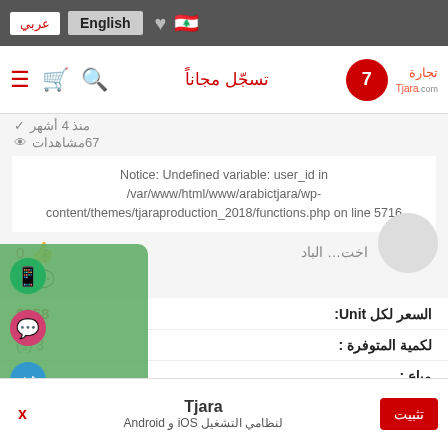عربي | English | ♥ | 🇱🇧
[Figure (screenshot): Navigation bar with Tjara.com logo, hamburger menu, cart, search icons, and تسجّل مجاناً (register free) link]
منذ 4 أشهر
67 مشاهدات
Notice: Undefined variable: user_id in /var/www/html/www/arabictjara/wp-content/themes/tjaraproduction_2018/functions.php on line 5716
0 👍
0 💬
| Label | Value |
| --- | --- |
| السعر لكل Unit: |  |
| لكمية المتوفرة : | (s) 3 |
| مباع : | (s) 0 |
| باقي: | (s) 3 |
اخت… الباد
Tjara | لنظامي التشغيل iOS و Android | تثبيت | X